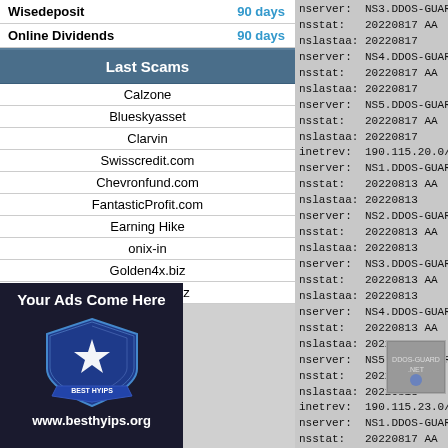|  |  |
| --- | --- |
| Wisedeposit | 90 days |
| Online Dividends | 90 days |
Last Scams
| Calzone |
| Blueskyasset |
| Clarvin |
| Swisscredit.com |
| Chevronfund.com |
| FantasticProfit.com |
| Earning Hike |
| onix-in |
| Golden4x.biz |
| btcsuccess.biz |
[Figure (logo): Best HYIPs shield logo with star, text 'BEST HYIPS' and URL www.besthyips.org on dark background]
nserver:  NS3.DDOS-GUARD.NET
nsstat:   20220817 AA
nslastaa: 20220817
nserver:  NS4.DDOS-GUARD.NET
nsstat:   20220817 AA
nslastaa: 20220817
nserver:  NS5.DDOS-GUARD.NET
nsstat:   20220817 AA
nslastaa: 20220817
inetrev:  190.115.20.0/23
nserver:  NS1.DDOS-GUARD.NET
nsstat:   20220813 AA
nslastaa: 20220813
nserver:  NS2.DDOS-GUARD.NET
nsstat:   20220813 AA
nslastaa: 20220813
nserver:  NS3.DDOS-GUARD.NET
nsstat:   20220813 AA
nslastaa: 20220813
nserver:  NS4.DDOS-GUARD.NET
nsstat:   20220813 AA
nslastaa: 20220813
nserver:  NS5.DDOS-GUARD.NET
nsstat:   20220813 AA
nslastaa: 20220813
inetrev:  190.115.23.0/24
nserver:  NS1.DDOS-GUARD.NET
nsstat:   20220817 AA
nslastaa: 20220817
nserver:  NS2.DDOS-GUARD.NET
nsstat:   20220817 AA
nslastaa: 20220817
nserver:  NS3.DDOS-GUARD.NET
nsstat:   20220817 AA
nslastaa: 20220817
nserver:  NS4.DDOS-GUARD.NET
nsstat:   20220817 AA
nslastaa: 20220817